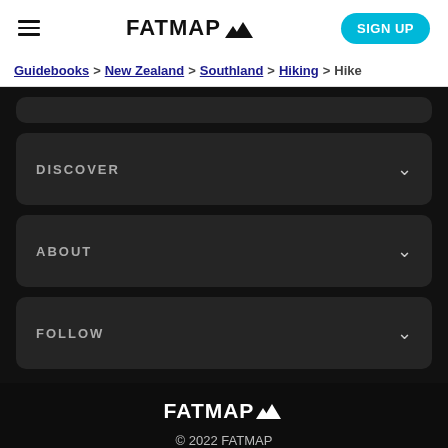FATMAP [mountain logo] | SIGN UP
Guidebooks > New Zealand > Southland > Hiking > Hike
DISCOVER
ABOUT
FOLLOW
FATMAP © 2022 FATMAP